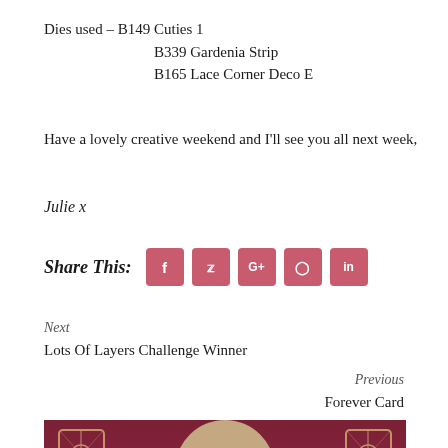Dies used – B149 Cuties 1
        B339 Gardenia Strip
        B165 Lace Corner Deco E
Have a lovely creative weekend and I'll see you all next week,
Julie x
Share This:
Next
Lots Of Layers Challenge Winner
Previous
Forever Card
[Figure (photo): Vintage portrait photograph of a woman with decorative lace corner die-cut elements on either side, set against a dark red/maroon background]